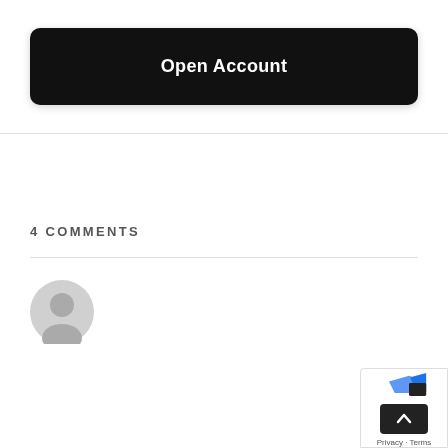Open Account
4 COMMENTS
[Figure (illustration): Generic user avatar: gray circle with silhouette of person]
[Figure (screenshot): Scroll-to-top button overlay with blue icon and Privacy/Terms footer]